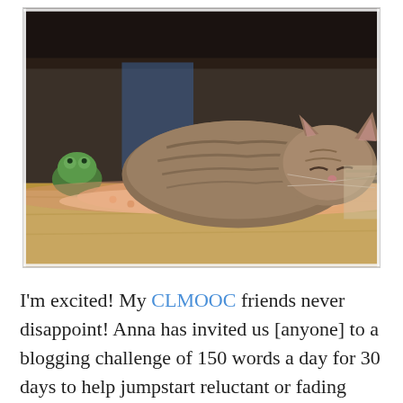[Figure (photo): A tabby cat sleeping/resting on a crocheted blanket on a wooden surface. There is a frog figurine visible on the left side and some shelving/books in the background.]
I'm excited! My CLMOOC friends never disappoint! Anna has invited us [anyone] to a blogging challenge of 150 words a day for 30 days to help jumpstart reluctant or fading bloggers find their writing spirits again. Read